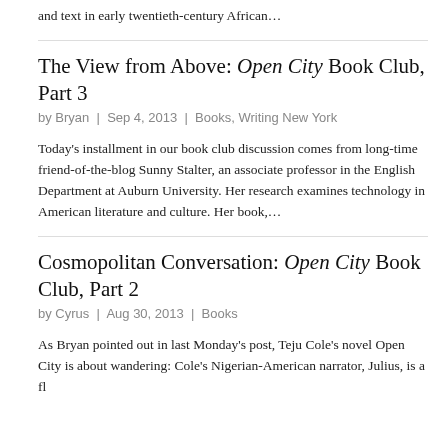and text in early twentieth-century African…
The View from Above: Open City Book Club, Part 3
by Bryan | Sep 4, 2013 | Books, Writing New York
Today's installment in our book club discussion comes from long-time friend-of-the-blog Sunny Stalter, an associate professor in the English Department at Auburn University. Her research examines technology in American literature and culture. Her book,…
Cosmopolitan Conversation: Open City Book Club, Part 2
by Cyrus | Aug 30, 2013 | Books
As Bryan pointed out in last Monday's post, Teju Cole's novel Open City is about wandering: Cole's Nigerian-American narrator, Julius, is a fl